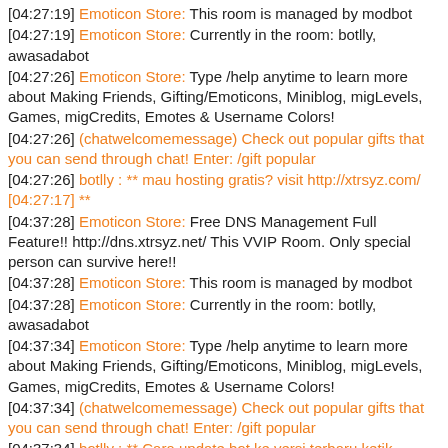[04:27:19] Emoticon Store: This room is managed by modbot
[04:27:19] Emoticon Store: Currently in the room: botlly, awasadabot
[04:27:26] Emoticon Store: Type /help anytime to learn more about Making Friends, Gifting/Emoticons, Miniblog, migLevels, Games, migCredits, Emotes & Username Colors!
[04:27:26] (chatwelcomemessage) Check out popular gifts that you can send through chat! Enter: /gift popular
[04:27:26] botlly : ** mau hosting gratis? visit http://xtrsyz.com/ [04:27:17] **
[04:37:28] Emoticon Store: Free DNS Management Full Feature!! http://dns.xtrsyz.net/ This VVIP Room. Only special person can survive here!!
[04:37:28] Emoticon Store: This room is managed by modbot
[04:37:28] Emoticon Store: Currently in the room: botlly, awasadabot
[04:37:34] Emoticon Store: Type /help anytime to learn more about Making Friends, Gifting/Emoticons, Miniblog, migLevels, Games, migCredits, Emotes & Username Colors!
[04:37:34] (chatwelcomemessage) Check out popular gifts that you can send through chat! Enter: /gift popular
[04:37:34] botlly : ** Cara update bot ke versi terbaru ketik